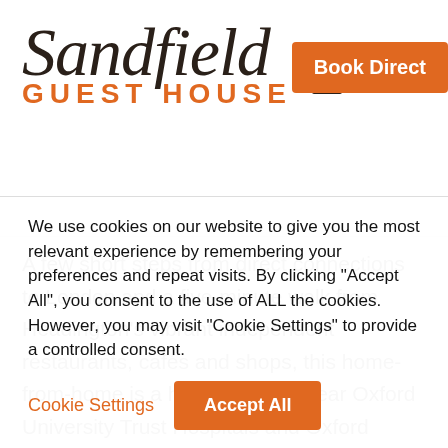[Figure (logo): Sandfield Guest House logo with script font 'Sandfield' in dark color and 'GUEST HOUSE' in orange below, alongside a hamburger menu icon and an orange 'Book Direct' button]
A few short steps from direct connections to London and a five-minute walk from Headington's vibrant independent restaurants, cafés and shops, this home-from-home is a haven nestled near Oxford University Trust Hospitals and Oxford Brookes University
We use cookies on our website to give you the most relevant experience by remembering your preferences and repeat visits. By clicking "Accept All", you consent to the use of ALL the cookies. However, you may visit "Cookie Settings" to provide a controlled consent.
Cookie Settings
Accept All